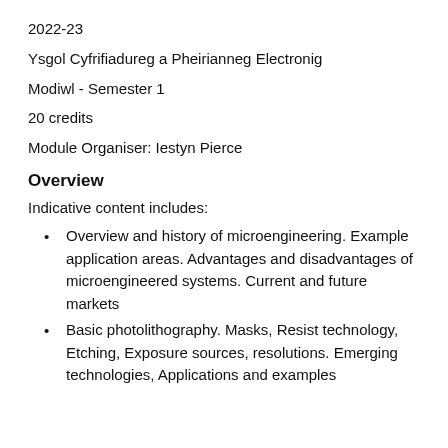2022-23
Ysgol Cyfrifiadureg a Pheirianneg Electronig
Modiwl - Semester 1
20 credits
Module Organiser: Iestyn Pierce
Overview
Indicative content includes:
Overview and history of microengineering. Example application areas. Advantages and disadvantages of microengineered systems. Current and future markets
Basic photolithography. Masks, Resist technology, Etching, Exposure sources, resolutions. Emerging technologies, Applications and examples